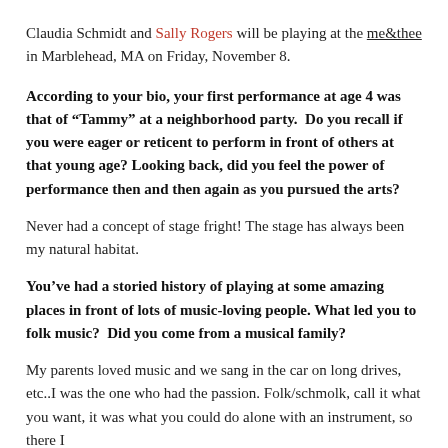Claudia Schmidt and Sally Rogers will be playing at the me&thee in Marblehead, MA on Friday, November 8.
According to your bio, your first performance at age 4 was that of “Tammy” at a neighborhood party.  Do you recall if you were eager or reticent to perform in front of others at that young age? Looking back, did you feel the power of performance then and then again as you pursued the arts?
Never had a concept of stage fright! The stage has always been my natural habitat.
You’ve had a storied history of playing at some amazing places in front of lots of music-loving people. What led you to folk music?  Did you come from a musical family?
My parents loved music and we sang in the car on long drives, etc..I was the one who had the passion. Folk/schmolk, call it what you want, it was what you could do alone with an instrument, so there I